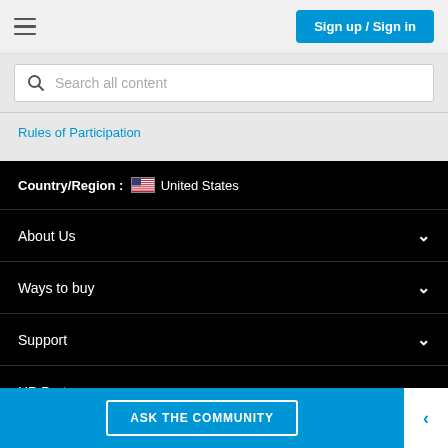Sign up / Sign in
Search all content
Rules of Participation
Country/Region : United States
About Us
Ways to buy
Support
HP Partners
ASK THE COMMUNITY